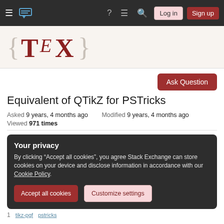≡  [TeX logo]  ?  ≡  🔍  Log in  Sign up
[Figure (logo): TeX Stack Exchange logo with curly braces and TeX text in dark red]
Ask Question
Equivalent of QTikZ for PSTricks
Asked 9 years, 4 months ago   Modified 9 years, 4 months ago
Viewed 971 times
Your privacy
By clicking "Accept all cookies", you agree Stack Exchange can store cookies on your device and disclose information in accordance with our Cookie Policy.
Accept all cookies   Customize settings
tikz.pgf   pstricks